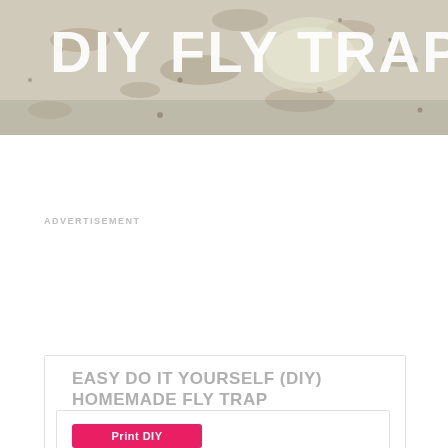[Figure (photo): Hero image showing a DIY fly trap on a granite countertop with bold white text overlay reading 'DIY FLY TRAP']
ADVERTISEMENT
EASY DO IT YOURSELF (DIY) HOMEMADE FLY TRAP
Print DIY